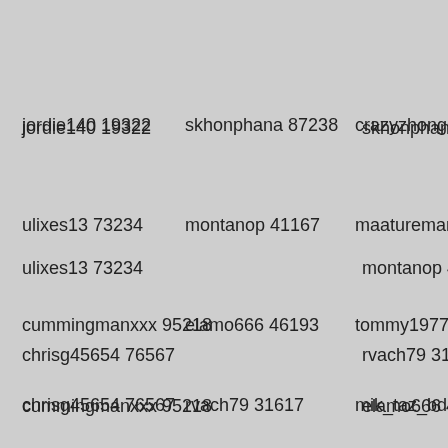jordie140 19322
skhonphana 87238
crazyzhongsi 3912
ulixes13 73234
montanop 41167
maatureman43 198
cummingmanxxx 95218
elamo666 46193
tommy197773 438
chrisg45654 76567
rvach79 31617
mik_taz_bd 33971